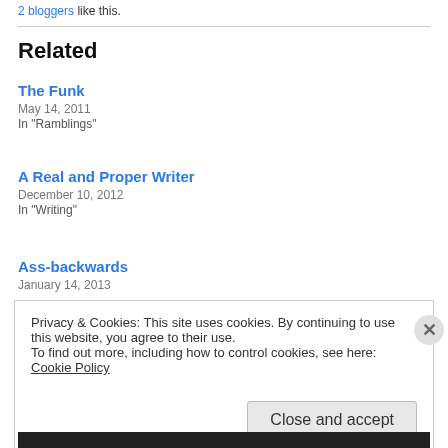2 bloggers like this.
Related
The Funk
May 14, 2011
In "Ramblings"
A Real and Proper Writer
December 10, 2012
In "Writing"
Ass-backwards
January 14, 2013
Privacy & Cookies: This site uses cookies. By continuing to use this website, you agree to their use.
To find out more, including how to control cookies, see here: Cookie Policy
Close and accept